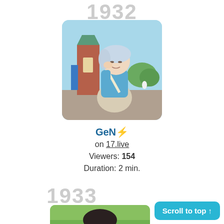1932
[Figure (photo): A person with silver/grey hair wearing a blue t-shirt and beige pants, sitting outdoors near a brick tower structure with a light blue sky background.]
GeN⚡️
on 17.live
Viewers: 154
Duration: 2 min.
1933
[Figure (photo): Partial view of a person with dark hair and a teal/blue headband on a green grassy background.]
Scroll to top ↑